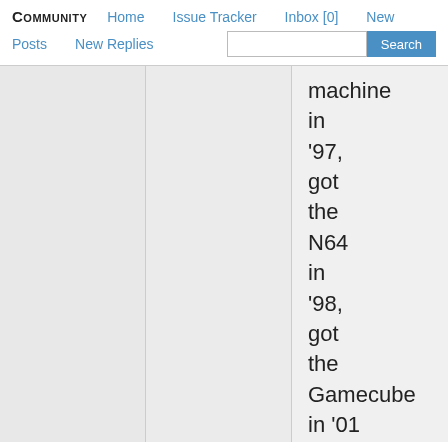COMMUNITY  Home  Issue Tracker  Inbox [0]  New  Posts  New Replies  Search
machine in '97, got the N64 in '98, got the Gamecube in '01 and a bunch of stuff after